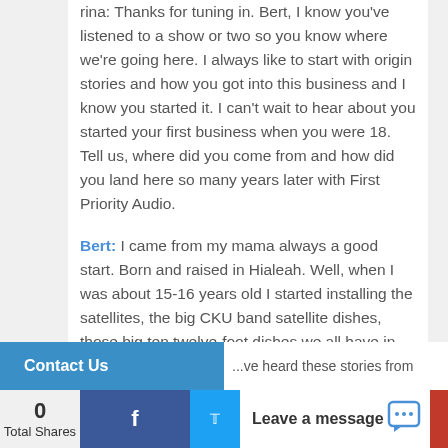rina: Thanks for tuning in. Bert, I know you've listened to a show or two so you know where we're going here. I always like to start with origin stories and how you got into this business and I know you started it. I can't wait to hear about you started your first business when you were 18. Tell us, where did you come from and how did you land here so many years later with First Priority Audio.
Bert: I came from my mama always a good start. Born and raised in Hialeah. Well, when I was about 15-16 years old I started installing the satellites, the big CKU band satellite dishes, those big ten twelve-foot dishes we all have in our backyards.
...ve heard these stories from
Contact Us    0 Total Shares    Leave a message